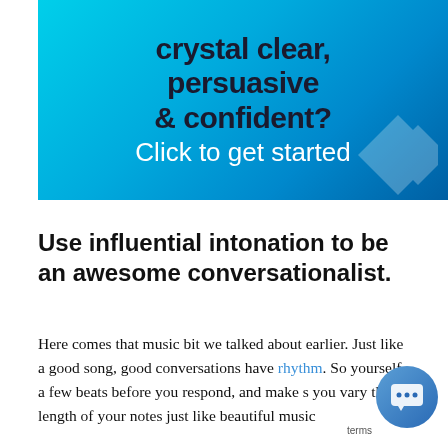[Figure (infographic): Promotional banner with cyan/blue gradient background. Dark text reads 'crystal clear, persuasive & confident?' and white text below reads 'Click to get started'. Decorative diamond shapes visible in lower right.]
Use influential intonation to be an awesome conversationalist.
Here comes that music bit we talked about earlier. Just like a good song, good conversations have rhythm. So yourself a few beats before you respond, and make s you vary the length of your notes just like beautiful music